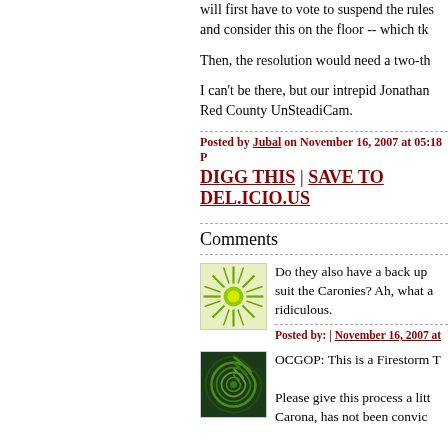will first have to vote to suspend the rules and consider this on the floor -- which tk
Then, the resolution would need a two-th
I can't be there, but our intrepid Jonathan Red County UnSteadiCam.
Posted by Jubal on November 16, 2007 at 05:18 P
DIGG THIS | SAVE TO DEL.ICIO.US
Comments
[Figure (illustration): Green sun/starburst avatar icon with circular center]
Do they also have a back up suit the Caronies? Ah, what a ridiculous.
Posted by: | November 16, 2007 at
[Figure (illustration): Dark green swirl/spiral avatar icon]
OCGOP: This is a Firestorm T
Please give this process a litt Carona, has not been convic